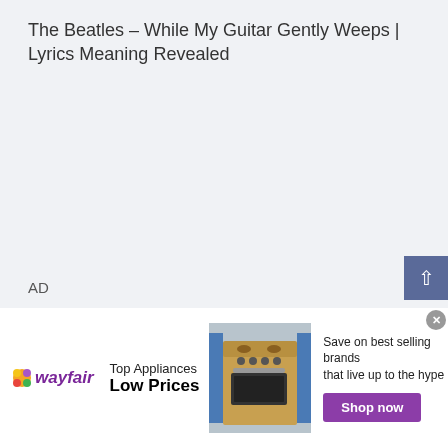The Beatles – While My Guitar Gently Weeps | Lyrics Meaning Revealed
AD
[Figure (screenshot): Wayfair advertisement banner showing logo, Top Appliances / Low Prices text, image of a stove/range appliance, and Shop now button with text 'Save on best selling brands that live up to the hype']